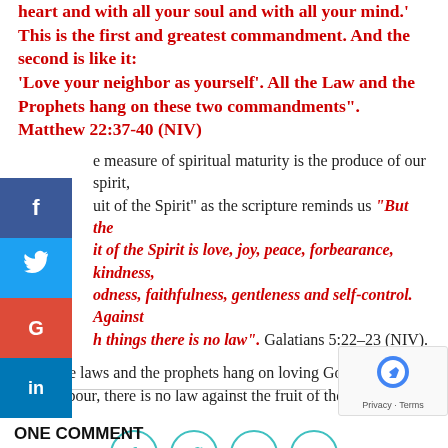heart and with all your soul and with all your mind.' This is the first and greatest commandment. And the second is like it: 'Love your neighbor as yourself'. All the Law and the Prophets hang on these two commandments". Matthew 22:37-40 (NIV)
The measure of spiritual maturity is the produce of our spirit, the "fruit of the Spirit" as the scripture reminds us "But the fruit of the Spirit is love, joy, peace, forbearance, kindness, goodness, faithfulness, gentleness and self-control. Against such things there is no law". Galatians 5:22-23 (NIV).
All the laws and the prophets hang on loving God and your neighbour, there is no law against the fruit of the Spirit.
[Figure (infographic): Social sharing buttons: Facebook, Twitter, LinkedIn, Google+]
[Figure (other): reCAPTCHA widget with Privacy and Terms links]
ONE COMMENT